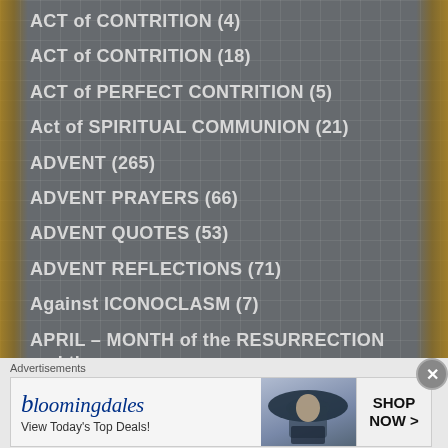ACT of CONTRITION (4)
ACT of CONTRITION (18)
ACT of PERFECT CONTRITION (5)
Act of SPIRITUAL COMMUNION (21)
ADVENT (265)
ADVENT PRAYERS (66)
ADVENT QUOTES (53)
ADVENT REFLECTIONS (71)
Against ICONOCLASM (7)
APRIL – MONTH of the RESURRECTION and the BLESSED SACAMENT (6)
[Figure (other): Bloomingdales advertisement banner with model wearing hat. Text: bloomingdales, View Today's Top Deals!, SHOP NOW >]